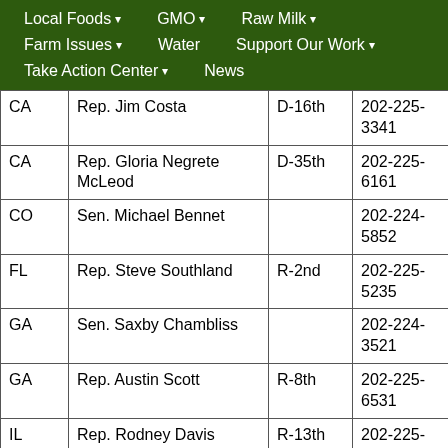Local Foods ▾   GMO ▾   Raw Milk ▾   Farm Issues ▾   Water   Support Our Work ▾   Take Action Center ▾   News
| State | Name | Party-District | Phone |
| --- | --- | --- | --- |
| CA | Rep. Jim Costa | D-16th | 202-225-3341 |
| CA | Rep. Gloria Negrete McLeod | D-35th | 202-225-6161 |
| CO | Sen. Michael Bennet |  | 202-224-5852 |
| FL | Rep. Steve Southland | R-2nd | 202-225-5235 |
| GA | Sen. Saxby Chambliss |  | 202-224-3521 |
| GA | Rep. Austin Scott | R-8th | 202-225-6531 |
| IL | Rep. Rodney Davis | R-13th | 202-225-2371 |
| IA | Rep. Steve King | R-4th | 202-225-4426 |
| IA | Sen. Tom Harkin |  | 202-224-3254 |